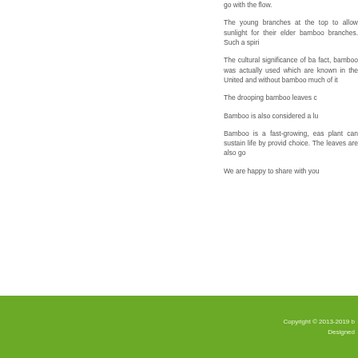go with the flow.
The young branches at the top to allow sunlight for their elder bamboo branches. Such a spiri
The cultural significance of ba fact, bamboo was actually used which are known in the United and without bamboo much of it
The drooping bamboo leaves c
Bamboo is also considered a lu
Bamboo is a fast-growing, eas plant can sustain life by provid choice. The leaves are also go
We are happy to share with you
Copyright © 2013-2019 b Designed